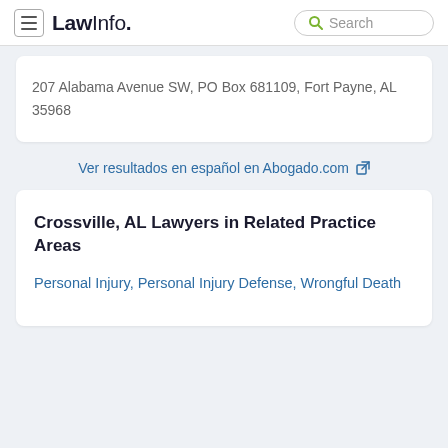LawInfo. Search
207 Alabama Avenue SW, PO Box 681109, Fort Payne, AL 35968
Ver resultados en español en Abogado.com
Crossville, AL Lawyers in Related Practice Areas
Personal Injury, Personal Injury Defense, Wrongful Death